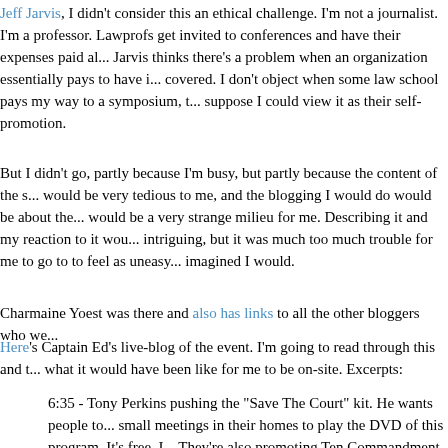Jeff Jarvis, I didn't consider this an ethical challenge. I'm not a journalist. I'm a professor. Lawprofs get invited to conferences and have their expenses paid al... Jarvis thinks there's a problem when an organization essentially pays to have i... covered. I don't object when some law school pays my way to a symposium, t... suppose I could view it as their self-promotion.
But I didn't go, partly because I'm busy, but partly because the content of the s... would be very tedious to me, and the blogging I would do would be about the... would be a very strange milieu for me. Describing it and my reaction to it wou... intriguing, but it was much too much trouble for me to go to to feel as uneasy... imagined I would.
Charmaine Yoest was there and also has links to all the other bloggers who we...
Here's Captain Ed's live-blog of the event. I'm going to read through this and t... what it would have been like for me to be on-site. Excerpts:
6:35 - Tony Perkins pushing the "Save The Court" kit. He wants people to... small meetings in their homes to play the DVD of this program. It's free, I... They're also promoting Ten Commandment bookk covers for school textbo... sounds clever, but can you imagine going to a public school and having yo...